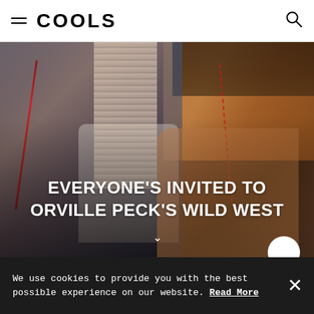COOLS
[Figure (photo): Person wearing a denim vest with fringe/tassel scarf and tattoos, sitting in a warm-toned wooden setting. Text overlay reads EVERYONE'S INVITED TO ORVILLE PECK'S WILD WEST]
EVERYONE'S INVITED TO ORVILLE PECK'S WILD WEST
We use cookies to provide you with the best possible experience on our website. Read More